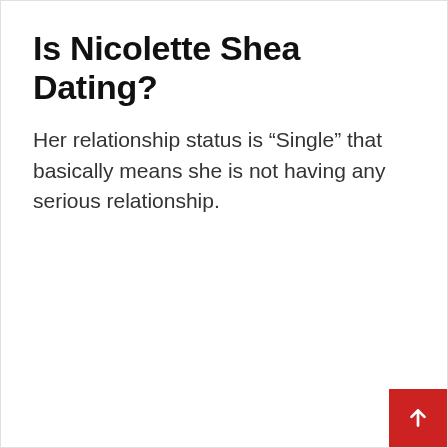Is Nicolette Shea Dating?
Her relationship status is “Single” that basically means she is not having any serious relationship.